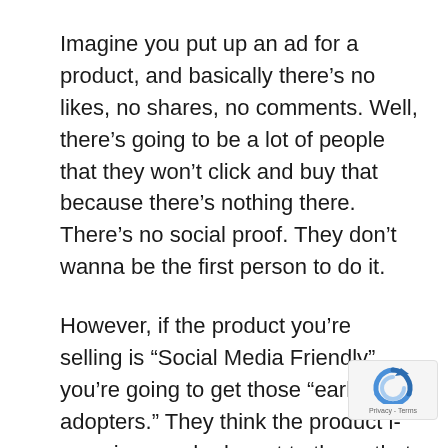Imagine you put up an ad for a product, and basically there's no likes, no shares, no comments. Well, there's going to be a lot of people that they won't click and buy that because there's nothing there. There's no social proof. They don't wanna be the first person to do it.
However, if the product you're selling is “Social Media Friendly” you're going to get those “early adopters.” They think the product is so unique and relevant to them, that
[Figure (logo): reCAPTCHA badge with circular arrow logo and Privacy - Terms text]